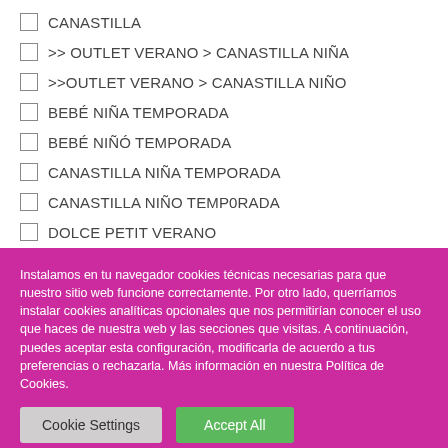CANASTILLA
>> OUTLET VERANO > CANASTILLA NIÑA
>>OUTLET VERANO > CANASTILLA NIÑO
BEBÉ NIÑA TEMPORADA
BEBÉ NIÑÓ TEMPORADA
CANASTILLA NIÑA TEMPORADA
CANASTILLA NIÑO TEMP0RADA
DOLCE PETIT VERANO
Instalamos en tu navegador cookies técnicas necesarias para que nuestro sitio web funcione correctamente. Por otro lado, querríamos instalar cookies analíticas opcionales que nos permitirían conocer el uso que haces de nuestra web y las secciones que visitas. A continuación, puedes aceptar esta configuración, modificarla de acuerdo a tus preferencias o rechazarla. Más información en nuestra Política de Cookies.
Cookie Settings | Accept All